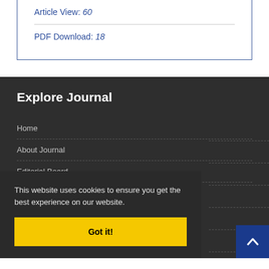Article View: 60
PDF Download: 18
Explore Journal
Home
About Journal
Editorial Board
This website uses cookies to ensure you get the best experience on our website.
Got it!